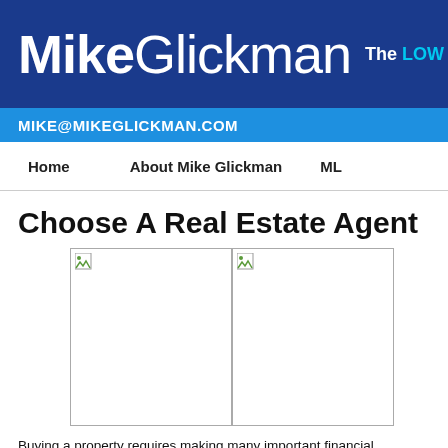MikeGlickman  The LOW
MIKE@MIKEGLICKMAN.COM
Home   About Mike Glickman   ML
Choose A Real Estate Agent
[Figure (photo): Two placeholder images side by side (broken image icons)]
Buying a property requires making many important financial decisions, understand a lot of paperwork. It helps to have an expert in your corner when undertaking suc you through this process, and also provide you with access to property listings be
Here are some factors to consider when choosing your real estate professional: